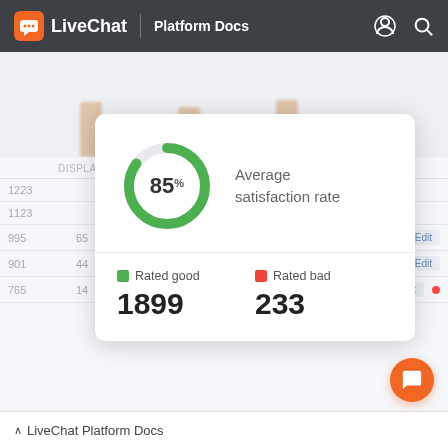LiveChat | Platform Docs
[Figure (screenshot): Background blurred screenshot of LiveChat dashboard with bar chart and table data]
[Figure (donut-chart): Average satisfaction rate]
Average satisfaction rate
Rated good 1899
Rated bad 233
^ LiveChat Platform Docs